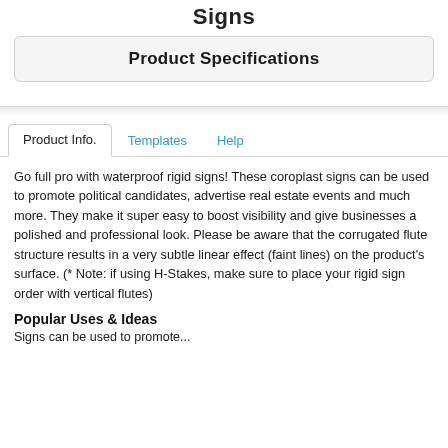Signs
Product Specifications
Product Info.
Templates
Help
Go full pro with waterproof rigid signs! These coroplast signs can be used to promote political candidates, advertise real estate events and much more. They make it super easy to boost visibility and give businesses a polished and professional look. Please be aware that the corrugated flute structure results in a very subtle linear effect (faint lines) on the product's surface. (* Note: if using H-Stakes, make sure to place your rigid sign order with vertical flutes)
Popular Uses & Ideas